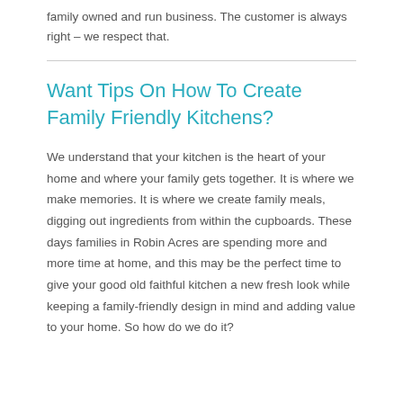family owned and run business. The customer is always right – we respect that.
Want Tips On How To Create Family Friendly Kitchens?
We understand that your kitchen is the heart of your home and where your family gets together. It is where we make memories. It is where we create family meals, digging out ingredients from within the cupboards. These days families in Robin Acres are spending more and more time at home, and this may be the perfect time to give your good old faithful kitchen a new fresh look while keeping a family-friendly design in mind and adding value to your home. So how do we do it?